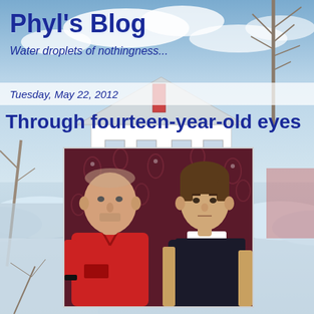[Figure (photo): Winter landscape background: snowy house with blue sky and bare trees, used as full-page blog header background image]
Phyl's Blog
Water droplets of nothingness...
Tuesday, May 22, 2012
Through fourteen-year-old eyes
[Figure (photo): Photograph of two people against a dark floral wallpaper: an older man in a red polo shirt on the left, and a teenage boy in a dark sweater with white collar on the right]